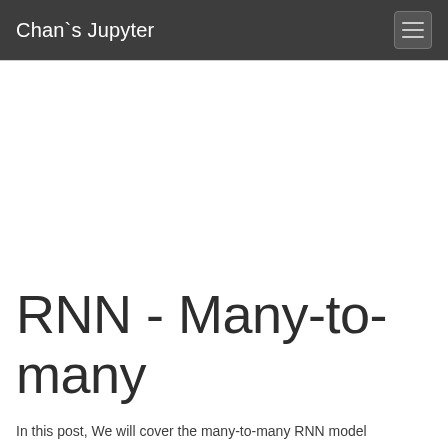Chan`s Jupyter
RNN - Many-to-many
In this post, We will cover the many-to-many RNN model